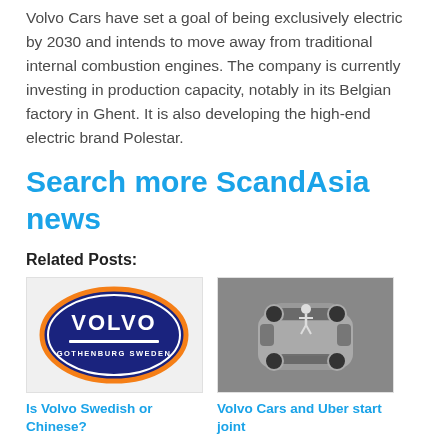Volvo Cars have set a goal of being exclusively electric by 2030 and intends to move away from traditional internal combustion engines. The company is currently investing in production capacity, notably in its Belgian factory in Ghent. It is also developing the high-end electric brand Polestar.
Search more ScandAsia news
Related Posts:
[Figure (logo): Volvo logo — dark blue oval with VOLVO text and GOTHENBURG SWEDEN below, orange border]
Is Volvo Swedish or Chinese?
[Figure (photo): Overhead aerial view of a gray Volvo SUV on a gray background, with a small figure on the roof]
Volvo Cars and Uber start joint